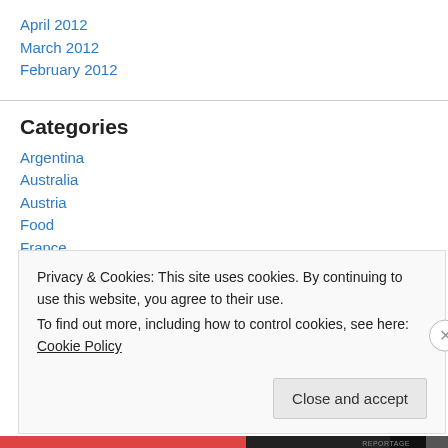April 2012
March 2012
February 2012
Categories
Argentina
Australia
Austria
Food
France
Germany
Privacy & Cookies: This site uses cookies. By continuing to use this website, you agree to their use.
To find out more, including how to control cookies, see here: Cookie Policy
Close and accept